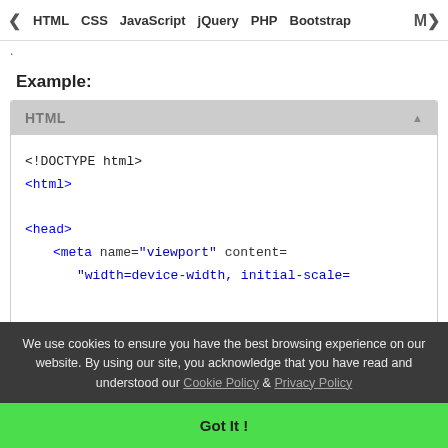< HTML  CSS  JavaScript  jQuery  PHP  Bootstrap  M>
.
Example:
[Figure (screenshot): HTML code editor box showing: <!DOCTYPE html>, <html>, <head>, <meta name="viewport" content="width=device-width, initial-scale=]
We use cookies to ensure you have the best browsing experience on our website. By using our site, you acknowledge that you have read and understood our Cookie Policy & Privacy Policy
Got It !